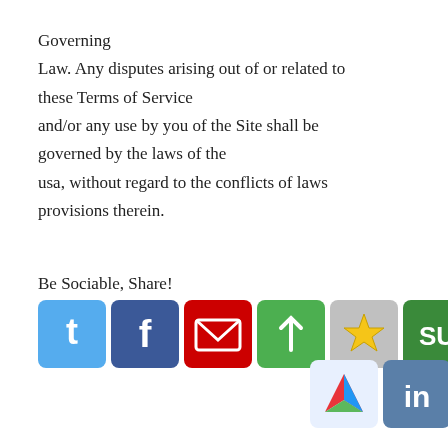Governing
Law. Any disputes arising out of or related to these Terms of Service
and/or any use by you of the Site shall be governed by the laws of the
usa, without regard to the conflicts of laws provisions therein.
Be Sociable, Share!
[Figure (screenshot): Social sharing buttons: Twitter, Facebook, Email, Pinterest, Favorites (star), StumbleUpon, Delicious, Digg, LinkedIn, and a +MORE button and Pin button]
[Figure (other): +MORE button and Pin button for additional social sharing options]